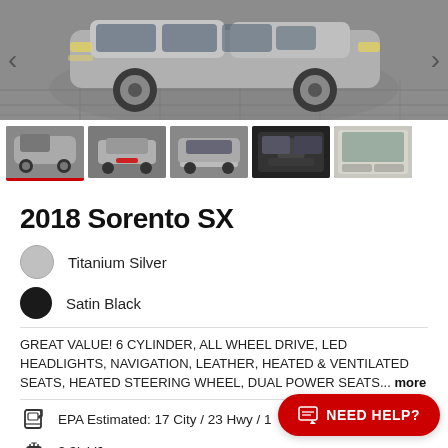[Figure (photo): Main large photo of a 2018 Kia Sorento SX in Titanium Silver, shot from a front-angle, parked on a gray tiled surface. Navigation arrows on left and right sides.]
[Figure (photo): Thumbnail row of 5 vehicle photos: front-angle exterior, front grille, rear exterior, interior dashboard, interior center console. First thumbnail has red underline indicating active selection.]
2018 Sorento SX
Titanium Silver
Satin Black
GREAT VALUE! 6 CYLINDER, ALL WHEEL DRIVE, LED HEADLIGHTS, NAVIGATION, LEATHER, HEATED & VENTILATED SEATS, HEATED STEERING WHEEL, DUAL POWER SEATS... more
EPA Estimated: 17 City / 23 Hwy / 1
3.3L V6